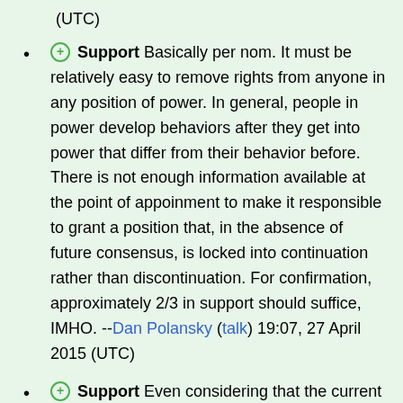(UTC)
⊕ Support Basically per nom. It must be relatively easy to remove rights from anyone in any position of power. In general, people in power develop behaviors after they get into power that differ from their behavior before. There is not enough information available at the point of appoinment to make it responsible to grant a position that, in the absence of future consensus, is locked into continuation rather than discontinuation. For confirmation, approximately 2/3 in support should suffice, IMHO. --Dan Polansky (talk) 19:07, 27 April 2015 (UTC)
⊕ Support Even considering that the current method should take into account the concerns raised during the discussion, I support this approach giving